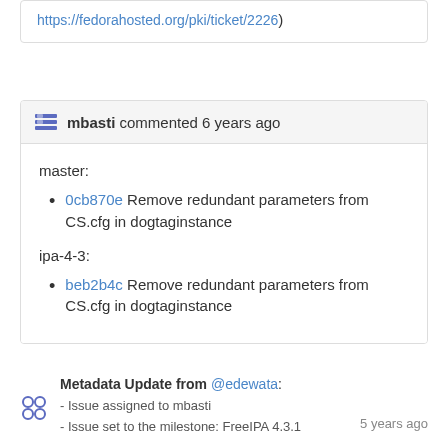https://fedorahosted.org/pki/ticket/2226)
mbasti commented 6 years ago
master:
0cb870e Remove redundant parameters from CS.cfg in dogtaginstance
ipa-4-3:
beb2b4c Remove redundant parameters from CS.cfg in dogtaginstance
Metadata Update from @edewata:
- Issue assigned to mbasti
- Issue set to the milestone: FreeIPA 4.3.1
5 years ago